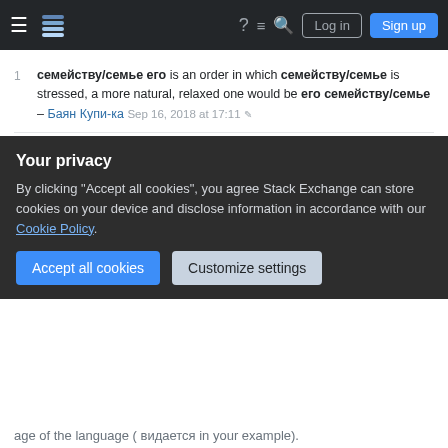Stack Exchange navigation bar with hamburger menu, logo, help, inbox, search, Log in, Sign up
семейству/семье его is an order in which семейству/семье is stressed, a more natural, relaxed one would be его семейству/семье – Баян Купи-ка Sep 16, 2018 at 17:11
To illustrate the stylistic difference - there is common phrase "Святое семейство" (Holy Family), and nobody use "Святая семья". – Toivo Oct 2, 2018 at 11:57
Add a comment
2 Answers
Sorted by: Highest score (default)
Your privacy
By clicking "Accept all cookies", you agree Stack Exchange can store cookies on your device and disclose information in accordance with our Cookie Policy.
Accept all cookies   Customize settings
age of the language ( видается in your example).